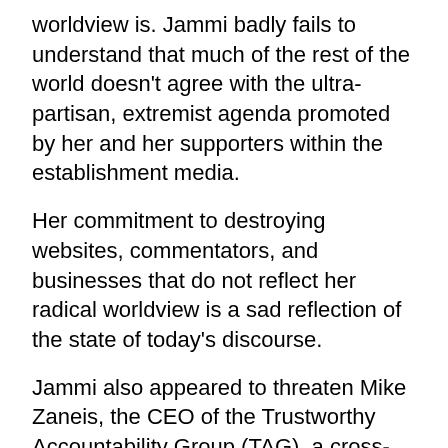worldview is. Jammi badly fails to understand that much of the rest of the world doesn't agree with the ultra-partisan, extremist agenda promoted by her and her supporters within the establishment media.
Her commitment to destroying websites, commentators, and businesses that do not reflect her radical worldview is a sad reflection of the state of today's discourse.
Jammi also appeared to threaten Mike Zaneis, the CEO of the Trustworthy Accountability Group (TAG), a cross-industry program that promotes brand safety in digital ad supplies. In a tweet published on June 7, Jammi complained that TAG allows brands to maintain their brand safety certifications while investigations into far-left complaints remain ongoing – a process that ensures companies are not unfairly financially impacted by false claims from ultra-partisan activists like Jammi.